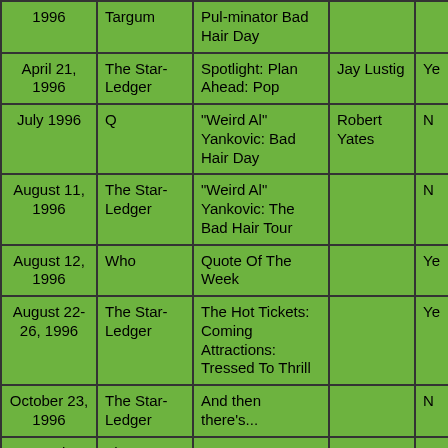| Date | Publication | Title | Author | Y/N |
| --- | --- | --- | --- | --- |
| 1996 | Targum | Pul-minator Bad Hair Day |  |  |
| April 21, 1996 | The Star-Ledger | Spotlight: Plan Ahead: Pop | Jay Lustig | Ye |
| July 1996 | Q | "Weird Al" Yankovic: Bad Hair Day | Robert Yates | N |
| August 11, 1996 | The Star-Ledger | "Weird Al" Yankovic: The Bad Hair Tour |  | N |
| August 12, 1996 | Who | Quote Of The Week |  | Ye |
| August 22-26, 1996 | The Star-Ledger | The Hot Tickets: Coming Attractions: Tressed To Thrill |  | Ye |
| October 23, 1996 | The Star-Ledger | And then there's... |  | N |
| November 11, 1996 | The Star-Ledger | React |  | N |
|  |  | "Weird Al" Yankovic: |  |  |